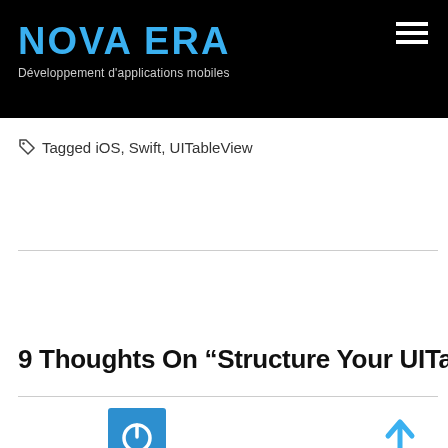NOVA ERA — Développement d'applications mobiles
Tagged iOS, Swift, UITableView
Previous
9 Thoughts On “Structure Your UITa
[Figure (logo): Power button icon in a blue square]
[Figure (other): Blue upward arrow icon]